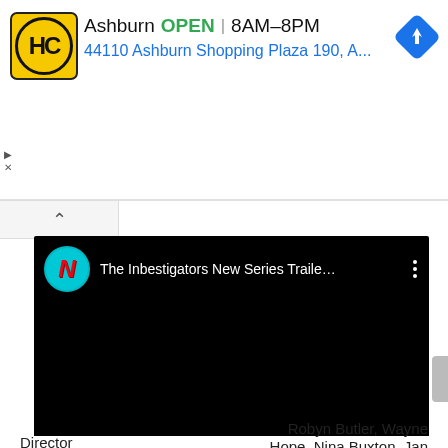[Figure (screenshot): Advertisement banner for HC (Harris & Company or similar) store in Ashburn. Shows yellow circle logo with HC text, store name 'Ashburn', green OPEN label, hours '8AM–8PM', address '44110 Ashburn Shopping Plaza 190, A...', blue navigation diamond icon, and small ad controls (play/close icons).]
[Figure (screenshot): YouTube embedded video player showing Netflix content. Black background with Netflix logo (cyan circle with red N), video title 'The Inbestigators New Series Traile...', three-dot menu icon. Video body is completely black.]
Robyn Butler, Wayne
Director
Hope, Nina Buxton, Jan